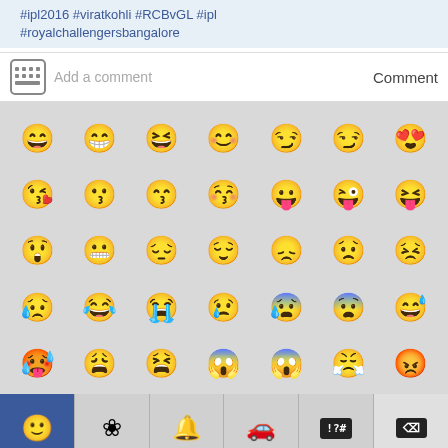#ipl2016 #viratkohli #RCBvGL #ipl #royalchallengersbangalore
Add a comment   Comment
[Figure (screenshot): Emoji picker panel showing rows of yellow smiley face emojis with various expressions, and a bottom navigation bar with category icons including face, flower, bell, car, symbols, and delete button]